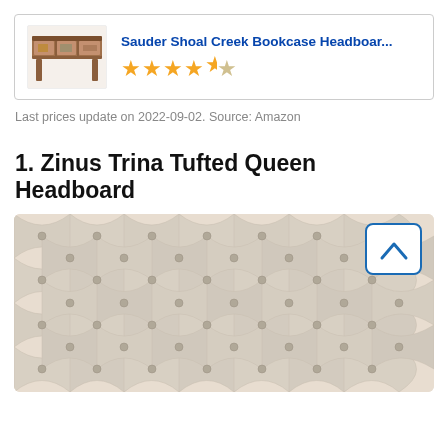[Figure (screenshot): Product card showing Sauder Shoal Creek Bookcase Headboard with product image thumbnail (brown wood headboard), bold blue product title, and 4.5 star rating in gold stars]
Last prices update on 2022-09-02. Source: Amazon
1. Zinus Trina Tufted Queen Headboard
[Figure (photo): Close-up photo of a cream/ivory tufted upholstered headboard with button tufting in a diamond pattern, with a scroll-up navigation button in the top right corner]